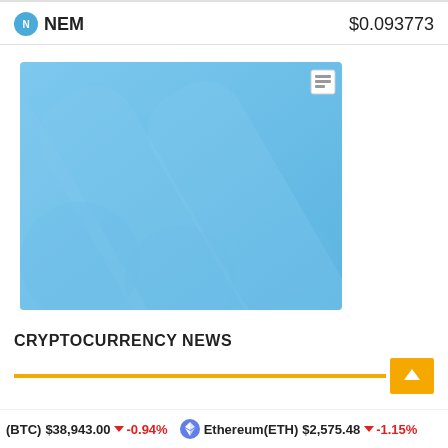NEM   $0.093773
[Figure (illustration): Light blue decorative background image with diagonal stripe patterns and circular shapes in varying shades of blue. A small icon appears in the top right corner.]
CRYPTOCURRENCY NEWS
(BTC) $38,943.00 ↓ -0.94%   Ethereum(ETH) $2,575.48 ↓ -1.15%